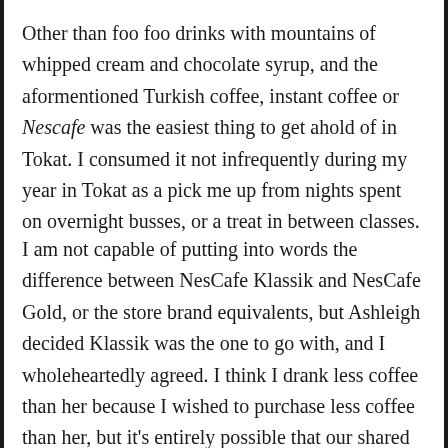Other than foo foo drinks with mountains of whipped cream and chocolate syrup, and the aformentioned Turkish coffee, instant coffee or Nescafe was the easiest thing to get ahold of in Tokat. I consumed it not infrequently during my year in Tokat as a pick me up from nights spent on overnight busses, or a treat in between classes.
I am not capable of putting into words the difference between NesCafe Klassik and NesCafe Gold, or the store brand equivalents, but Ashleigh decided Klassik was the one to go with, and I wholeheartedly agreed. I think I drank less coffee than her because I wished to purchase less coffee than her, but it's entirely possible that our shared coffee was inequitably distributed, which could